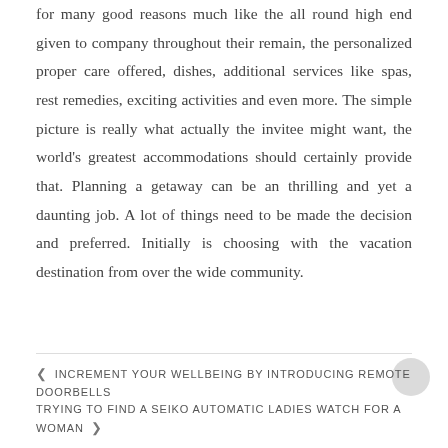for many good reasons much like the all round high end given to company throughout their remain, the personalized proper care offered, dishes, additional services like spas, rest remedies, exciting activities and even more. The simple picture is really what actually the invitee might want, the world's greatest accommodations should certainly provide that. Planning a getaway can be an thrilling and yet a daunting job. A lot of things need to be made the decision and preferred. Initially is choosing with the vacation destination from over the wide community.
< INCREMENT YOUR WELLBEING BY INTRODUCING REMOTE DOORBELLS
TRYING TO FIND A SEIKO AUTOMATIC LADIES WATCH FOR A WOMAN >